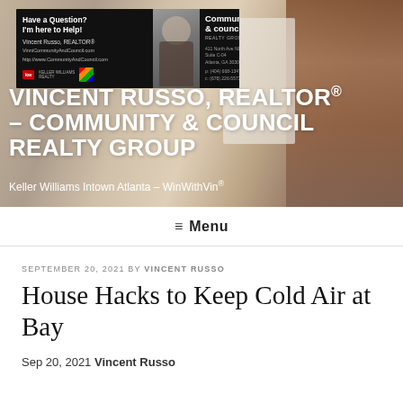[Figure (screenshot): Real estate agent ad banner with Keller Williams and Community & Council Realty Group branding, showing Vincent Russo's photo and contact information]
VINCENT RUSSO, REALTOR® – COMMUNITY & COUNCIL REALTY GROUP
Keller Williams Intown Atlanta – WinWithVin®
≡ Menu
SEPTEMBER 20, 2021 BY VINCENT RUSSO
House Hacks to Keep Cold Air at Bay
Sep 20, 2021 Vincent Russo